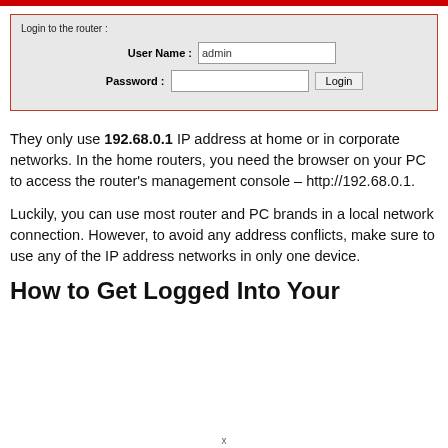[Figure (screenshot): Router login form screenshot showing User Name field with 'admin' and Password field with a Login button, on a light gray background with red border.]
They only use 192.68.0.1 IP address at home or in corporate networks. In the home routers, you need the browser on your PC to access the router's management console – http://192.68.0.1.
Luckily, you can use most router and PC brands in a local network connection. However, to avoid any address conflicts, make sure to use any of the IP address networks in only one device.
How to Get Logged Into Your